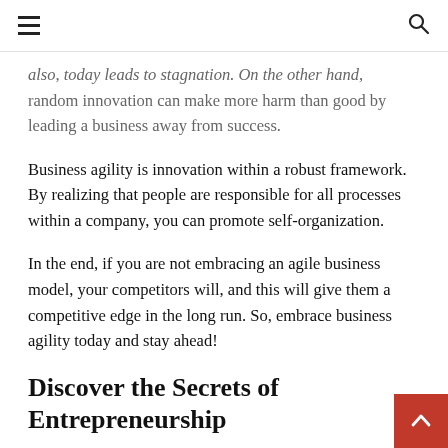≡  🔍
also, today leads to stagnation. On the other hand, random innovation can make more harm than good by leading a business away from success.
Business agility is innovation within a robust framework. By realizing that people are responsible for all processes within a company, you can promote self-organization.
In the end, if you are not embracing an agile business model, your competitors will, and this will give them a competitive edge in the long run. So, embrace business agility today and stay ahead!
Discover the Secrets of Entrepreneurship
Business agility is a set of skills and…